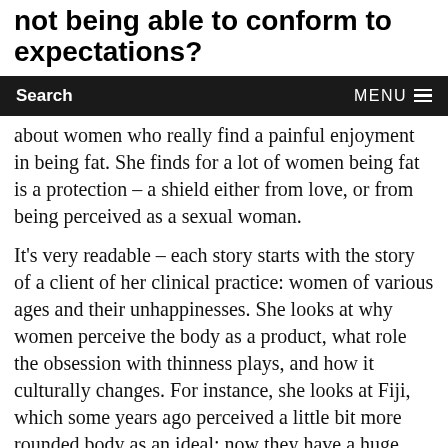not being able to conform to expectations?
Search   MENU
about women who really find a painful enjoyment in being fat. She finds for a lot of women being fat is a protection – a shield either from love, or from being perceived as a sexual woman.
It's very readable – each story starts with the story of a client of her clinical practice: women of various ages and their unhappinesses. She looks at why women perceive the body as a product, what role the obsession with thinness plays, and how it culturally changes. For instance, she looks at Fiji, which some years ago perceived a little bit more rounded body as an ideal; now they have a huge increase of anorexia which she links to the influence of the media on this society.